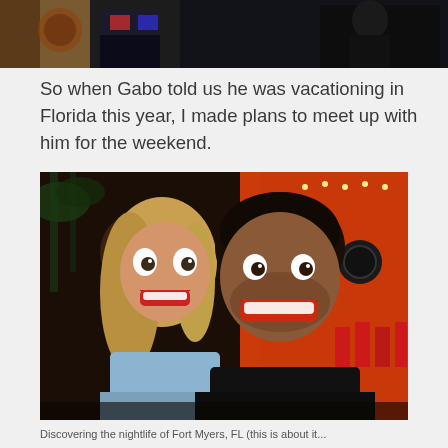[Figure (photo): Partial photo at top of page showing people indoors with colorful background, cropped at top]
So when Gabo told us he was vacationing in Florida this year, I made plans to meet up with him for the weekend.
[Figure (photo): Selfie of a smiling blonde woman and a dark-haired man outdoors at night with warm orange/red lighting, palm trees and restaurant visible in background]
Discovering the nightlife of Fort Myers, FL (this is about it...